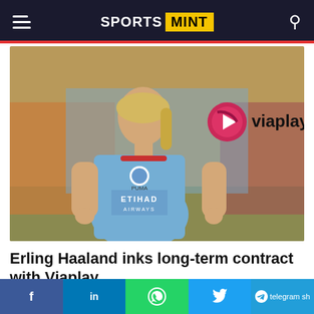SPORTS MINT
[Figure (photo): Erling Haaland in Manchester City sky blue kit with Viaplay logo overlay, running on a football pitch with blurred crowd background]
Erling Haaland inks long-term contract with Viaplay
[Figure (photo): Partial second article image visible at bottom]
f  in  WhatsApp  Twitter  telegram share